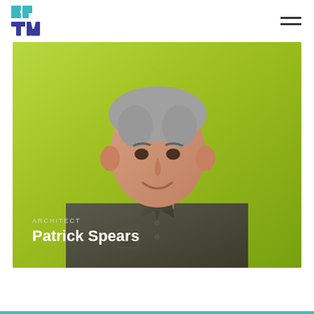BPTW logo and navigation
[Figure (photo): Professional headshot of Patrick Spears, an architect, shown from waist up wearing a dark olive/gray button-up shirt, with grey hair, smiling, against a bright lime green background. Overlay text reads 'ARCHITECT' and 'Patrick Spears' in white at the bottom left of the image.]